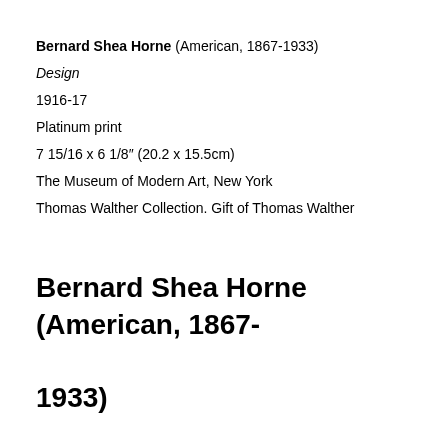Bernard Shea Horne (American, 1867-1933)
Design
1916-17
Platinum print
7 15/16 x 6 1/8″ (20.2 x 15.5cm)
The Museum of Modern Art, New York
Thomas Walther Collection. Gift of Thomas Walther
Bernard Shea Horne (American, 1867-1933)